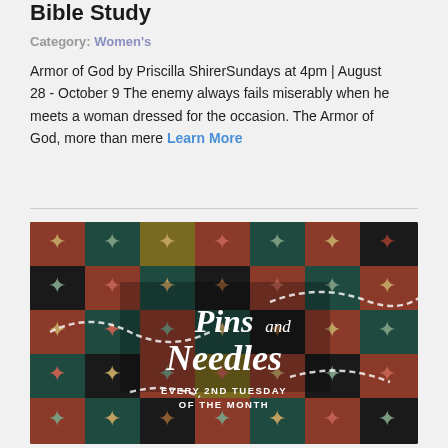Bible Study
Category: Women's
Armor of God by Priscilla ShirerSundays at 4pm | August 28 - October 9 The enemy always fails miserably when he meets a woman dressed for the occasion. The Armor of God, more than mere Learn More
[Figure (illustration): Decorative tile pattern image with text overlay reading 'Pins and Needles EVERY 2ND TUESDAY OF THE MONTH']